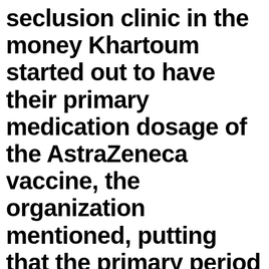seclusion clinic in the money Khartoum started out to have their primary medication dosage of the AstraZeneca vaccine, the organization mentioned, putting that the primary period of the roll-out will turn out to be